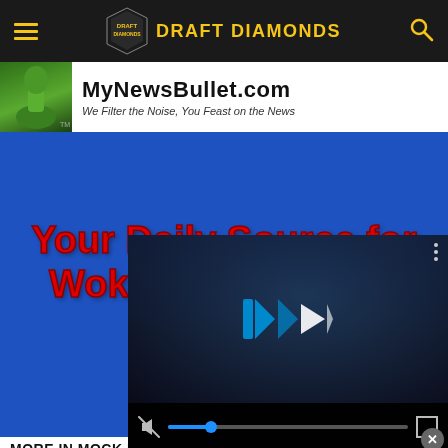Draft Diamonds
[Figure (screenshot): MyNewsBullet.com advertisement banner on blue background showing 'Your Daily Source for Woke-Free Political Content' in red bold text with a mascot figure]
[Figure (screenshot): Embedded video player overlay showing a sports broadcast scene with play controls, mute button, and progress bar]
MORE IN MOCK DRA...
[Figure (photo): Football player photo thumbnail]
Way To...